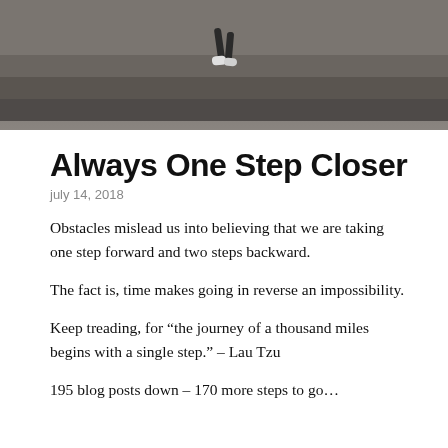[Figure (photo): Aerial/overhead view of person's legs and feet running up stone steps, grayscale/dark toned photograph]
Always One Step Closer
july 14, 2018
Obstacles mislead us into believing that we are taking one step forward and two steps backward.
The fact is, time makes going in reverse an impossibility.
Keep treading, for “the journey of a thousand miles begins with a single step.” – Lau Tzu
195 blog posts down – 170 more steps to go…